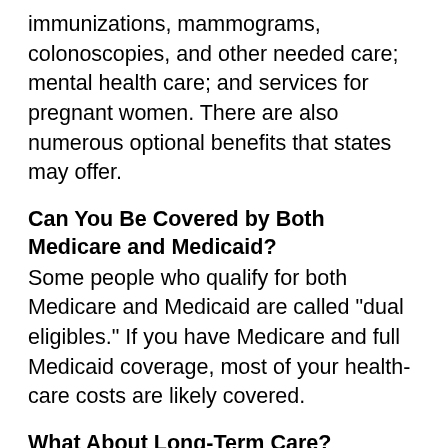immunizations, mammograms, colonoscopies, and other needed care; mental health care; and services for pregnant women. There are also numerous optional benefits that states may offer.
Can You Be Covered by Both Medicare and Medicaid?
Some people who qualify for both Medicare and Medicaid are called "dual eligibles." If you have Medicare and full Medicaid coverage, most of your health-care costs are likely covered.
What About Long-Term Care?
Most long-term care isn't medical care, but rather help with basic personal tasks of everyday life, called custodial care. Medicare does not pay for custodial care. However, Medicare may pay for skilled care (e.g., nursing, physical therapy) provided in a Medicare-certified skilled nursing facility for up to 100 days. States have considerable leeway in determining benefits offered and services provided by their respective Medicaid programs. Generally, if you meet